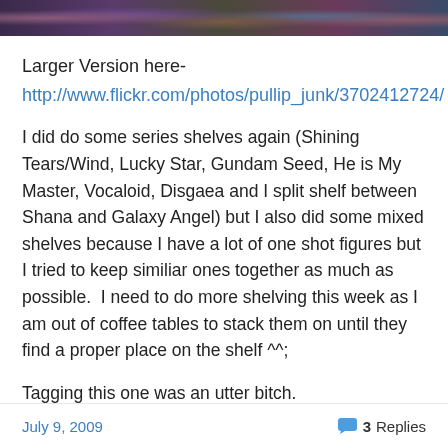[Figure (photo): Cropped top portion of a photo showing anime figures on shelves, colorful with dark/purple tones]
Larger Version here-
http://www.flickr.com/photos/pullip_junk/3702412724/
I did do some series shelves again (Shining Tears/Wind, Lucky Star, Gundam Seed, He is My Master, Vocaloid, Disgaea and I split shelf between Shana and Galaxy Angel) but I also did some mixed shelves because I have a lot of one shot figures but I tried to keep similiar ones together as much as possible.  I need to do more shelving this week as I am out of coffee tables to stack them on until they find a proper place on the shelf ^^;
Tagging this one was an utter bitch.
July 9, 2009  3 Replies